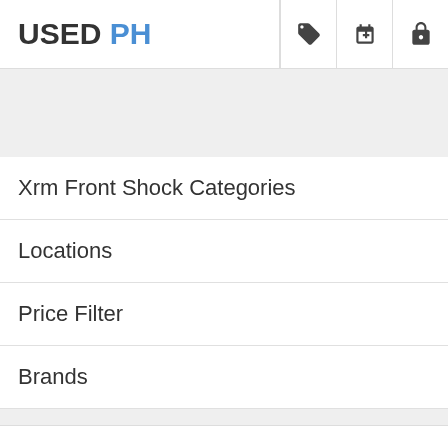USED PH
Xrm Front Shock Categories
Locations
Price Filter
Brands